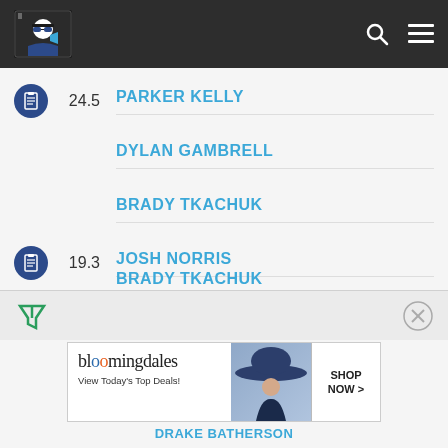Navigation bar with logo, search, and menu icons
24.5 PARKER KELLY
DYLAN GAMBRELL
BRADY TKACHUK
19.3 JOSH NORRIS
DRAKE BATHERSON
BRADY TKACHUK (partially visible)
[Figure (screenshot): Bloomingdale's advertisement banner: View Today's Top Deals! SHOP NOW >]
DRAKE BATHERSON (partially visible at bottom)